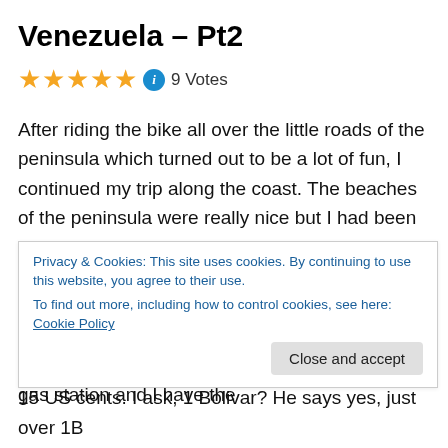Venezuela – Pt2
★★★★★ ℹ 9 Votes
After riding the bike all over the little roads of the peninsula which turned out to be a lot of fun, I continued my trip along the coast. The beaches of the peninsula were really nice but I had been spending over a month on along the Caribbean so I felt more like riding than being a lazy beach bum. Before leaving the peninsula I had to gas up as I wouldn't have enough gas for long 80 or so km stretch to the main land. I pull in to the gas station and I have the
Privacy & Cookies: This site uses cookies. By continuing to use this website, you agree to their use.
To find out more, including how to control cookies, see here: Cookie Policy
15 US cents. I ask, 1 Bolivar? He says yes, just over 1B